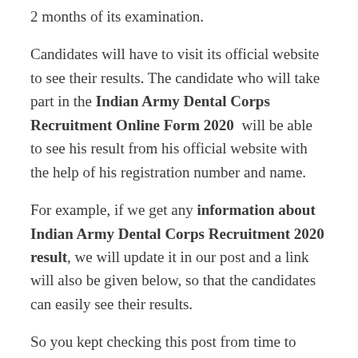2 months of its examination.
Candidates will have to visit its official website to see their results. The candidate who will take part in the Indian Army Dental Corps Recruitment Online Form 2020 will be able to see his result from his official website with the help of his registration number and name.
For example, if we get any information about Indian Army Dental Corps Recruitment 2020 result, we will update it in our post and a link will also be given below, so that the candidates can easily see their results.
So you kept checking this post from time to time.
About Indian Army Dental